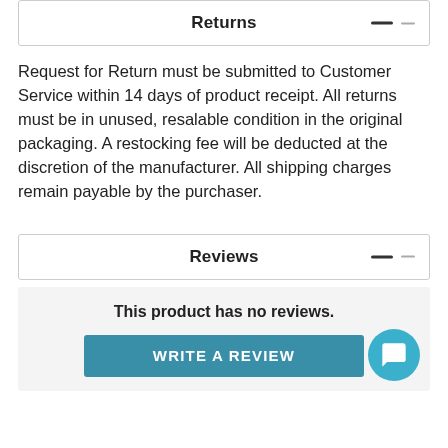Returns
Request for Return must be submitted to Customer Service within 14 days of product receipt. All returns must be in unused, resalable condition in the original packaging. A restocking fee will be deducted at the discretion of the manufacturer. All shipping charges remain payable by the purchaser.
Reviews
This product has no reviews.
WRITE A REVIEW